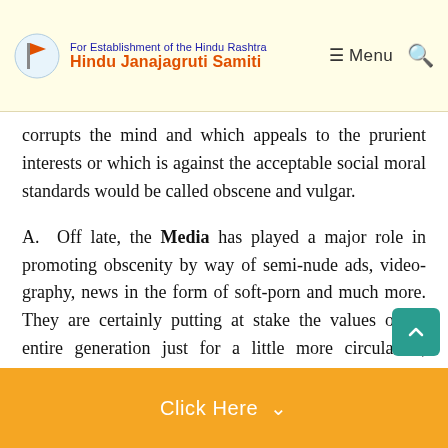For Establishment of the Hindu Rashtra | Hindu Janajagruti Samiti | Menu
corrupts the mind and which appeals to the prurient interests or which is against the acceptable social moral standards would be called obscene and vulgar.
A. Off late, the Media has played a major role in promoting obscenity by way of semi-nude ads, videography, news in the form of soft-porn and much more. They are certainly putting at stake the values of an entire generation just for a little more circulation, readership, viewership and a little more money.
B. With the change in Bollywood cinema, screenplay, acting and everything else over the last century, there is one thing that has consistently increased and that is the obscenity...